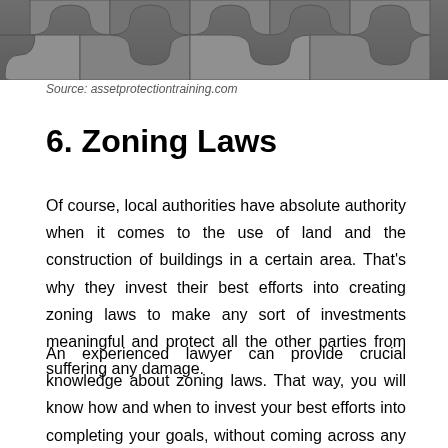[Figure (photo): Gray metallic puzzle pieces arranged together, partially shown at top of page]
Source: assetprotectiontraining.com
6. Zoning Laws
Of course, local authorities have absolute authority when it comes to the use of land and the construction of buildings in a certain area. That’s why they invest their best efforts into creating zoning laws to make any sort of investments meaningful and protect all the other parties from suffering any damage.
An experienced lawyer can provide crucial knowledge about zoning laws. That way, you will know how and when to invest your best efforts into completing your goals, without coming across any problems out there. Zoning laws are present in